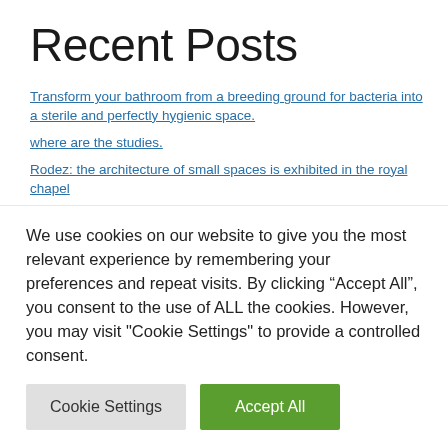Recent Posts
Transform your bathroom from a breeding ground for bacteria into a sterile and perfectly hygienic space.
where are the studies.
Rodez: the architecture of small spaces is exhibited in the royal chapel
Kas Saed's words are worth their weight in peanuts
[TRIBUNE] The mountain must remain a space of freedom against the temptation of all security
We use cookies on our website to give you the most relevant experience by remembering your preferences and repeat visits. By clicking “Accept All”, you consent to the use of ALL the cookies. However, you may visit "Cookie Settings" to provide a controlled consent.